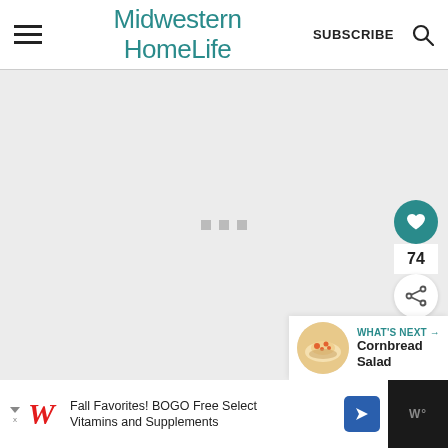Midwestern HomeLife — SUBSCRIBE
[Figure (screenshot): Loading state of a web page with gray background and three small gray square loading indicator dots in the center. Side action buttons include a teal heart/favorite button, a count badge showing 74, and a white share button. A 'WHAT'S NEXT → Cornbread Salad' panel is visible at the bottom right with a food thumbnail.]
[Figure (screenshot): Advertisement banner at the bottom: Walgreens ad reading 'Fall Favorites! BOGO Free Select Vitamins and Supplements' with navigation icon and a weather widget on the right.]